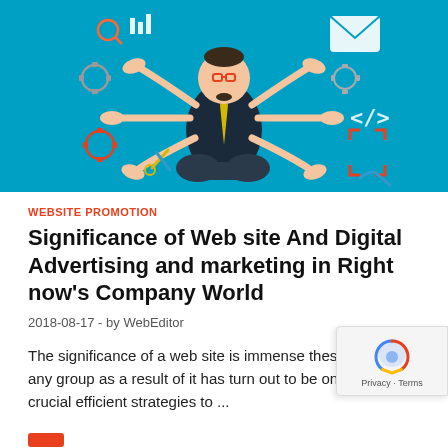[Figure (illustration): Digital marketing illustration showing a businessman in yoga pose with multiple arms holding various digital icons on a teal background]
WEBSITE PROMOTION
Significance of Web site And Digital Advertising and marketing in Right now’s Company World
2018-08-17  -  by WebEditor
The significance of a web site is immense these days for any group as a result of it has turn out to be one of the crucial efficient strategies to ...